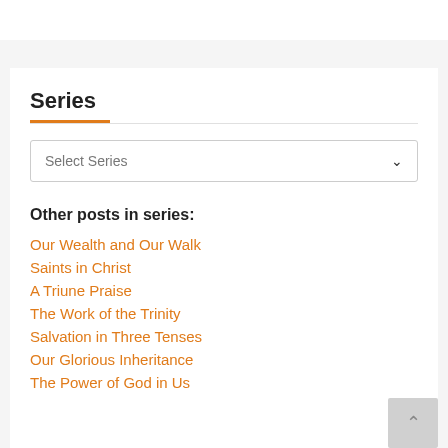Series
[Figure (screenshot): Select Series dropdown box]
Other posts in series:
Our Wealth and Our Walk
Saints in Christ
A Triune Praise
The Work of the Trinity
Salvation in Three Tenses
Our Glorious Inheritance
The Power of God in Us